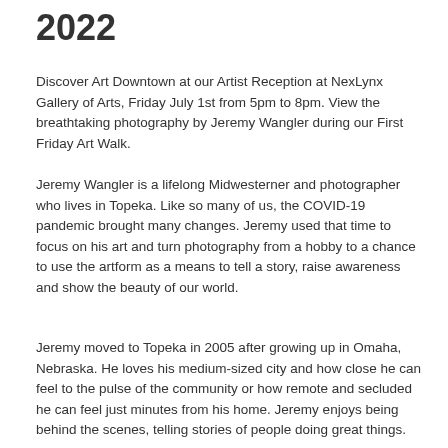2022
Discover Art Downtown at our Artist Reception at NexLynx Gallery of Arts, Friday July 1st from 5pm to 8pm. View the breathtaking photography by Jeremy Wangler during our First Friday Art Walk.
Jeremy Wangler is a lifelong Midwesterner and photographer who lives in Topeka. Like so many of us, the COVID-19 pandemic brought many changes. Jeremy used that time to focus on his art and turn photography from a hobby to a chance to use the artform as a means to tell a story, raise awareness and show the beauty of our world.
Jeremy moved to Topeka in 2005 after growing up in Omaha, Nebraska. He loves his medium-sized city and how close he can feel to the pulse of the community or how remote and secluded he can feel just minutes from his home. Jeremy enjoys being behind the scenes, telling stories of people doing great things.